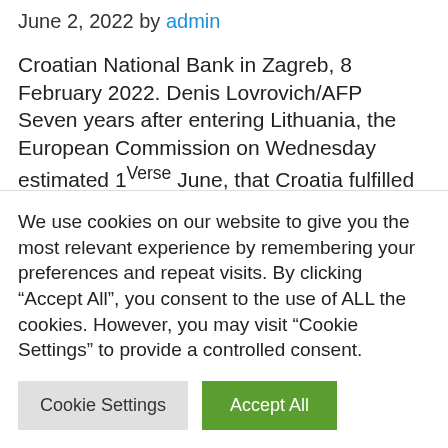June 2, 2022 by admin
Croatian National Bank in Zagreb, 8 February 2022. Denis Lovrovich/AFP
Seven years after entering Lithuania, the European Commission on Wednesday estimated 1Verse June, that Croatia fulfilled the conditions for the adoption of the single currency in 1Verse January 2023, making it the 20th member of the Eurozone. The…
We use cookies on our website to give you the most relevant experience by remembering your preferences and repeat visits. By clicking “Accept All”, you consent to the use of ALL the cookies. However, you may visit "Cookie Settings" to provide a controlled consent.